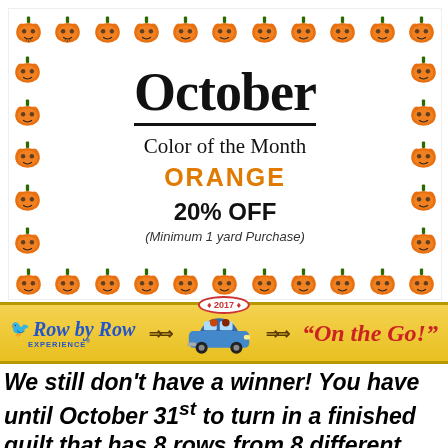[Figure (illustration): October Color of the Month promotional flyer with pumpkin border. Shows 'October' as title with underline, 'Color of the Month', 'ORANGE' in orange text, '20% OFF', '(Minimum 1 yard Purchase)'. Border made of jack-o-lantern pumpkin illustrations.]
[Figure (illustration): Row by Row Experience 2017 On the Go! banner with yellow background, bird logo, car icon, double arrows.]
We still don't have a winner!  You have until October 31st to turn in a finished quilt that has 8 rows from 8 different